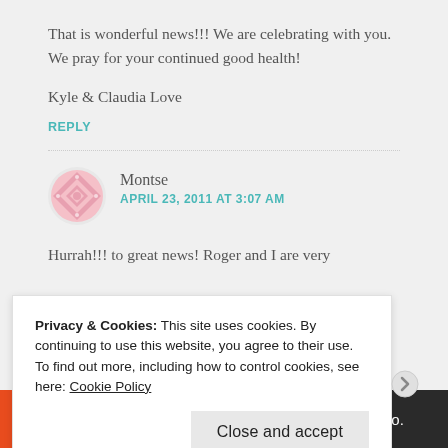That is wonderful news!!! We are celebrating with you. We pray for your continued good health!
Kyle & Claudia Love
REPLY
Montse
APRIL 23, 2011 AT 3:07 AM
Hurrah!!! to great news! Roger and I are very
Privacy & Cookies: This site uses cookies. By continuing to use this website, you agree to their use.
To find out more, including how to control cookies, see here: Cookie Policy
Close and accept
[Figure (infographic): Advertisement banner: left side orange background with 'All in One Free App' text in white, right side dark background with DuckDuckGo logo and text]